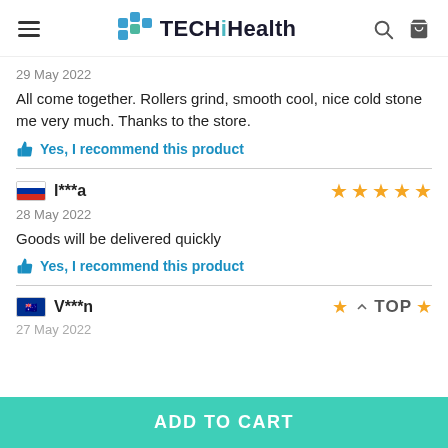TECHiHealth
29 May 2022
All come together. Rollers grind, smooth cool, nice cold stone me very much. Thanks to the store.
Yes, I recommend this product
l***a — 28 May 2022 — 5 stars
28 May 2022
Goods will be delivered quickly
Yes, I recommend this product
V***n — Australia — 1 star — TOP
ADD TO CART